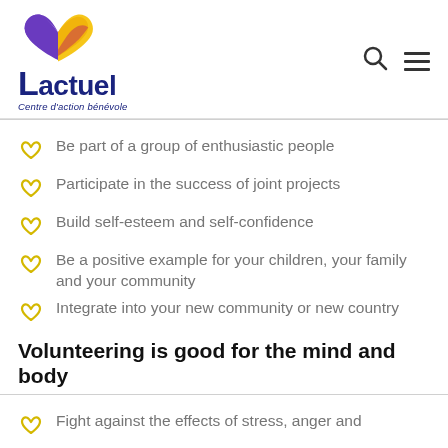[Figure (logo): Lactuel Centre d'action bénévole logo with heart shape made of purple, pink and yellow segments, and bold dark blue text]
Be part of a group of enthusiastic people
Participate in the success of joint projects
Build self-esteem and self-confidence
Be a positive example for your children, your family and your community
Integrate into your new community or new country
Volunteering is good for the mind and body
Fight against the effects of stress, anger and